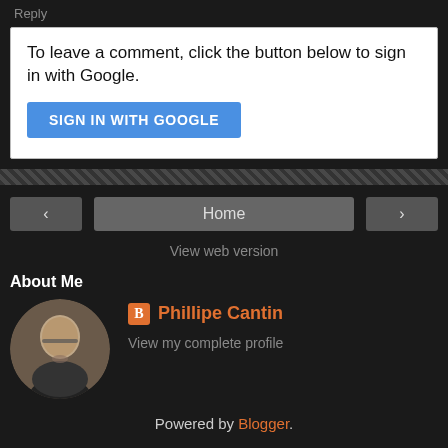Reply
To leave a comment, click the button below to sign in with Google.
SIGN IN WITH GOOGLE
Home
View web version
About Me
Phillipe Cantin
View my complete profile
Powered by Blogger.